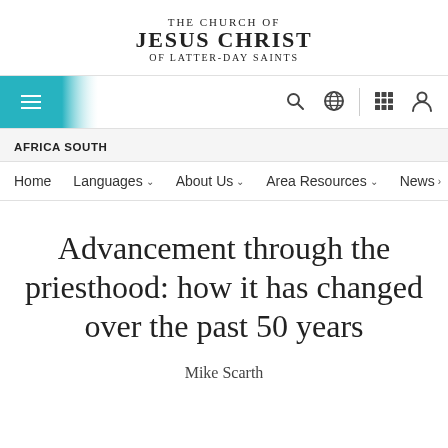THE CHURCH OF JESUS CHRIST OF LATTER-DAY SAINTS
[Figure (screenshot): Navigation bar with hamburger menu icon on teal background, search icon, globe icon, grid icon, and profile icon]
AFRICA SOUTH
Home   Languages   About Us   Area Resources   News
Advancement through the priesthood: how it has changed over the past 50 years
Mike Scarth